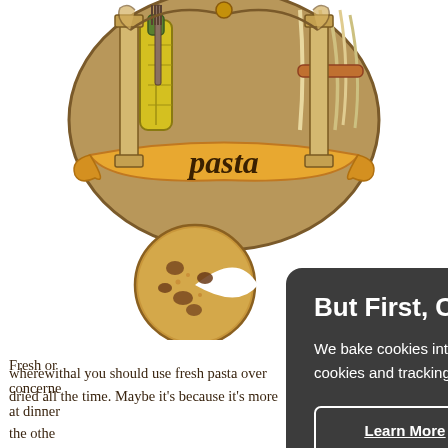[Figure (illustration): A decorative pasta logo/crest illustration with the word 'pasta' on a banner, flanked by food items including noodles and vegetables, with a cookie/biscuit illustration partially overlapping at lower left.]
Fresh or concerned at dinner the other debate on on the sc the cont without friends a almost a pasta is b wherewithal you should use fresh pasta over dried all the time. Maybe it's because it's more
[Figure (screenshot): Cookie consent overlay dialog with dark gray background. Title: 'But First, Cookies!' Body text: 'We bake cookies into our site to provide you with the best experience. By using our site, you consent to cookies and tracking. They help us find site issues and bring you the most relevant information.' Two buttons: 'Learn More' (outlined) and 'Accept & Continue' (white filled).]